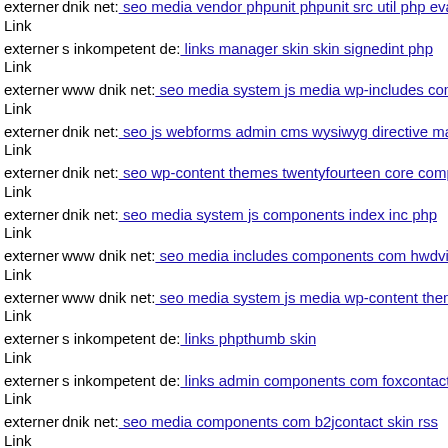externer Link  dnik net: seo media vendor phpunit phpunit src util php eva
externer Link  s inkompetent de: links manager skin skin signedint php
externer Link  www dnik net: seo media system js media wp-includes com
externer Link  dnik net: seo js webforms admin cms wysiwyg directive ma
externer Link  dnik net: seo wp-content themes twentyfourteen core compo
externer Link  dnik net: seo media system js components index inc php
externer Link  www dnik net: seo media includes components com hwdvic
externer Link  www dnik net: seo media system js media wp-content them
externer Link  s inkompetent de: links phpthumb skin
externer Link  s inkompetent de: links admin components com foxcontact
externer Link  dnik net: seo media components com b2jcontact skin rss